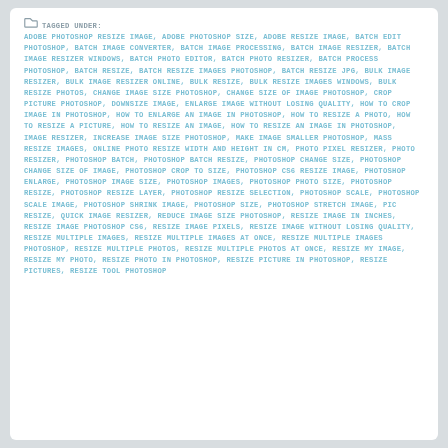TAGGED UNDER: ADOBE PHOTOSHOP RESIZE IMAGE, ADOBE PHOTOSHOP SIZE, ADOBE RESIZE IMAGE, BATCH EDIT PHOTOSHOP, BATCH IMAGE CONVERTER, BATCH IMAGE PROCESSING, BATCH IMAGE RESIZER, BATCH IMAGE RESIZER WINDOWS, BATCH PHOTO EDITOR, BATCH PHOTO RESIZER, BATCH PROCESS PHOTOSHOP, BATCH RESIZE, BATCH RESIZE IMAGES PHOTOSHOP, BATCH RESIZE JPG, BULK IMAGE RESIZER, BULK IMAGE RESIZER ONLINE, BULK RESIZE, BULK RESIZE IMAGES WINDOWS, BULK RESIZE PHOTOS, CHANGE IMAGE SIZE PHOTOSHOP, CHANGE SIZE OF IMAGE PHOTOSHOP, CROP PICTURE PHOTOSHOP, DOWNSIZE IMAGE, ENLARGE IMAGE WITHOUT LOSING QUALITY, HOW TO CROP IMAGE IN PHOTOSHOP, HOW TO ENLARGE AN IMAGE IN PHOTOSHOP, HOW TO RESIZE A PHOTO, HOW TO RESIZE A PICTURE, HOW TO RESIZE AN IMAGE, HOW TO RESIZE AN IMAGE IN PHOTOSHOP, IMAGE RESIZER, INCREASE IMAGE SIZE PHOTOSHOP, MAKE IMAGE SMALLER PHOTOSHOP, MASS RESIZE IMAGES, ONLINE PHOTO RESIZE WIDTH AND HEIGHT IN CM, PHOTO PIXEL RESIZER, PHOTO RESIZER, PHOTOSHOP BATCH, PHOTOSHOP BATCH RESIZE, PHOTOSHOP CHANGE SIZE, PHOTOSHOP CHANGE SIZE OF IMAGE, PHOTOSHOP CROP TO SIZE, PHOTOSHOP CS6 RESIZE IMAGE, PHOTOSHOP ENLARGE, PHOTOSHOP IMAGE SIZE, PHOTOSHOP IMAGES, PHOTOSHOP PHOTO SIZE, PHOTOSHOP RESIZE, PHOTOSHOP RESIZE LAYER, PHOTOSHOP RESIZE SELECTION, PHOTOSHOP SCALE, PHOTOSHOP SCALE IMAGE, PHOTOSHOP SHRINK IMAGE, PHOTOSHOP SIZE, PHOTOSHOP STRETCH IMAGE, PIC RESIZE, QUICK IMAGE RESIZER, REDUCE IMAGE SIZE PHOTOSHOP, RESIZE IMAGE IN INCHES, RESIZE IMAGE PHOTOSHOP CS6, RESIZE IMAGE PIXELS, RESIZE IMAGE WITHOUT LOSING QUALITY, RESIZE MULTIPLE IMAGES, RESIZE MULTIPLE IMAGES AT ONCE, RESIZE MULTIPLE IMAGES PHOTOSHOP, RESIZE MULTIPLE PHOTOS, RESIZE MULTIPLE PHOTOS AT ONCE, RESIZE MY IMAGE, RESIZE MY PHOTO, RESIZE PHOTO IN PHOTOSHOP, RESIZE PICTURE IN PHOTOSHOP, RESIZE PICTURES, RESIZE TOOL PHOTOSHOP